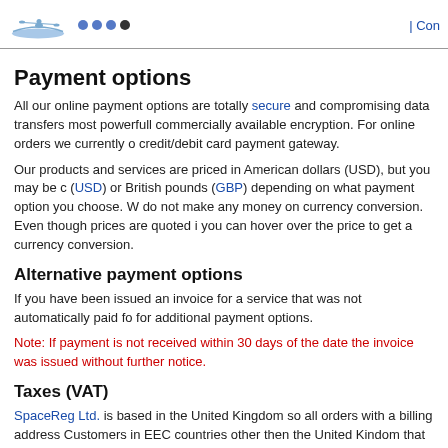| Con
Payment options
All our online payment options are totally secure and compromising data transfers most powerfull commercially available encryption. For online orders we currently o credit/debit card payment gateway.
Our products and services are priced in American dollars (USD), but you may be c (USD) or British pounds (GBP) depending on what payment option you choose. W do not make any money on currency conversion. Even though prices are quoted i you can hover over the price to get a currency conversion.
Alternative payment options
If you have been issued an invoice for a service that was not automatically paid fo for additional payment options.
Note: If payment is not received within 30 days of the date the invoice was issued without further notice.
Taxes (VAT)
SpaceReg Ltd. is based in the United Kingdom so all orders with a billing address Customers in EEC countries other then the United Kindom that supply their compa charged VAT in accordance with EEC law.
Refund policy